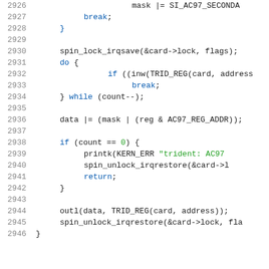[Figure (screenshot): Source code listing lines 2926-2946 showing C code for AC97 audio driver with syntax highlighting. Blue keywords, green strings/numbers, dark text for identifiers.]